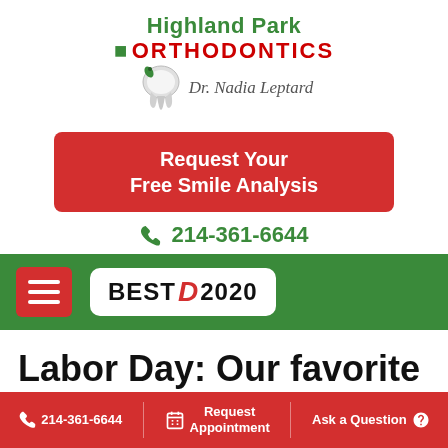[Figure (logo): Highland Park Orthodontics logo with tooth graphic and Dr. Nadia Leptard script signature]
Request Your Free Smile Analysis
214-361-6644
[Figure (other): Green navigation bar with red hamburger menu button and Best D 2020 badge]
Labor Day: Our favorite holiday to rest!
214-361-6644  Request Appointment  Ask a Question